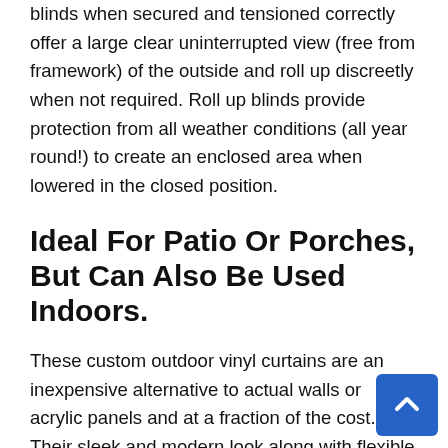blinds when secured and tensioned correctly offer a large clear uninterrupted view (free from framework) of the outside and roll up discreetly when not required. Roll up blinds provide protection from all weather conditions (all year round!) to create an enclosed area when lowered in the closed position.
Ideal For Patio Or Porches, But Can Also Be Used Indoors.
These custom outdoor vinyl curtains are an inexpensive alternative to actual walls or acrylic panels and at a fraction of the cost. Their sleek and modern look along with flexible control mechanisms make them a great and popular